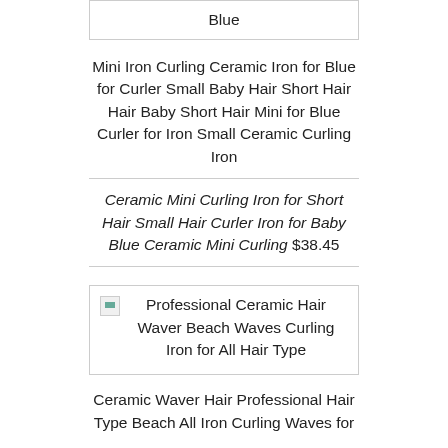| Blue |
Mini Iron Curling Ceramic Iron for Blue for Curler Small Baby Hair Short Hair Hair Baby Short Hair Mini for Blue Curler for Iron Small Ceramic Curling Iron
Ceramic Mini Curling Iron for Short Hair Small Hair Curler Iron for Baby Blue Ceramic Mini Curling $38.45
[Figure (photo): Broken image placeholder for Professional Ceramic Hair Waver Beach Waves Curling Iron for All Hair Type]
Ceramic Waver Hair Professional Hair Type Beach All Iron Curling Waves for